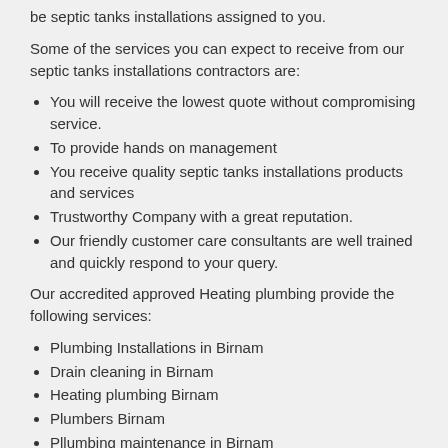be septic tanks installations assigned to you.
Some of the services you can expect to receive from our septic tanks installations contractors are:
You will receive the lowest quote without compromising service.
To provide hands on management
You receive quality septic tanks installations products and services
Trustworthy Company with a great reputation.
Our friendly customer care consultants are well trained and quickly respond to your query.
Our accredited approved Heating plumbing provide the following services:
Plumbing Installations in Birnam
Drain cleaning in Birnam
Heating plumbing Birnam
Plumbers Birnam
Pllumbing maintenance in Birnam
Gas plumbers Birnam
24 Hour Plumbing Service in Birnam
Leak detection in Birnam
Blocked drains in Birnam
Septic tanks installations Birnam
Heating plumbing Birnam
Industrial Plumbing Services in Birnam
Gas plumber Birnam